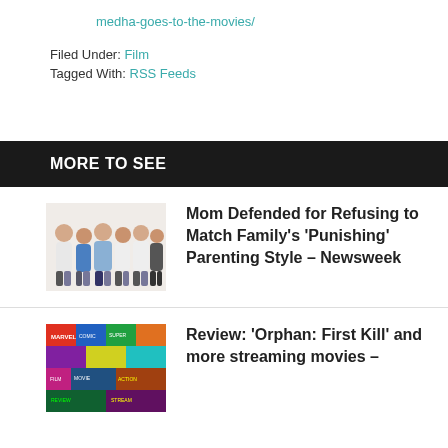medha-goes-to-the-movies/
Filed Under: Film
Tagged With: RSS Feeds
MORE TO SEE
[Figure (photo): Family photo with 6 people in white and casual clothing posing together]
Mom Defended for Refusing to Match Family’s ‘Punishing’ Parenting Style – Newsweek
[Figure (photo): Colorful collage of movie/comic book covers and posters]
Review: ‘Orphan: First Kill’ and more streaming movies –